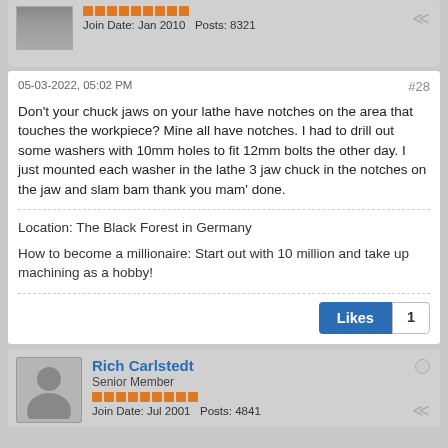Join Date: Jan 2010   Posts: 8321
05-03-2022, 05:02 PM  #28
Don't your chuck jaws on your lathe have notches on the area that touches the workpiece? Mine all have notches. I had to drill out some washers with 10mm holes to fit 12mm bolts the other day. I just mounted each washer in the lathe 3 jaw chuck in the notches on the jaw and slam bam thank you mam' done.
Location: The Black Forest in Germany
How to become a millionaire: Start out with 10 million and take up machining as a hobby!
Likes  1
Rich Carlstedt
Senior Member
Join Date: Jul 2001   Posts: 4841